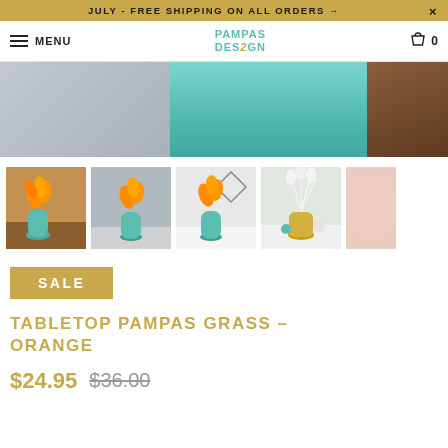JULY - FREE SHIPPING ON ALL ORDERS → ×
MENU  PAMPAS DESIGN  0
[Figure (photo): Large product hero image showing teal/green glass vases and décor items against a light and wood-toned background]
[Figure (photo): Thumbnail 1: Orange flower in teal vase on wooden surface]
[Figure (photo): Thumbnail 2: Orange flower in teal vase, grey background]
[Figure (photo): Thumbnail 3: Orange flower in teal vase on white table, geometric decor]
[Figure (photo): Thumbnail 4: White pampas grass in gold vase arrangement]
[Figure (photo): Thumbnail 5: Partially visible pink/peach décor]
SALE
TABLETOP PAMPAS GRASS – ORANGE
$24.95 $36.00